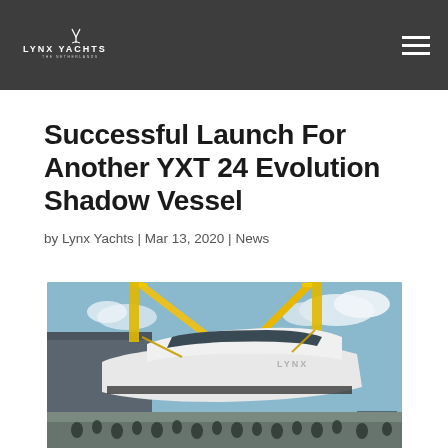LYNX YACHTS — THE NETHERLANDS
Successful Launch For Another YXT 24 Evolution Shadow Vessel
by Lynx Yachts | Mar 13, 2020 | News
[Figure (photo): A large white yacht being lifted by yellow cranes outside a shipyard building, with a crowd of people watching below, under a partly cloudy blue sky.]